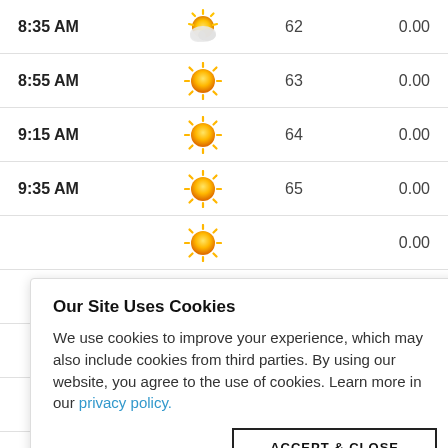| Time | Condition | Temp | Precip |
| --- | --- | --- | --- |
| 8:35 AM | [partly sunny icon] | 62 | 0.00 |
| 8:55 AM | [sunny icon] | 63 | 0.00 |
| 9:15 AM | [sunny icon] | 64 | 0.00 |
| 9:35 AM | [sunny icon] | 65 | 0.00 |
|  | [sunny icon] |  | 0.00 |
|  |  |  | 0.00 |
|  |  |  | 0.00 |
|  |  |  | 0.00 |
|  |  |  | 0.00 |
| 11:15 AM | [cloudy icon] | 69 | 0.00 |
Our Site Uses Cookies
We use cookies to improve your experience, which may also include cookies from third parties. By using our website, you agree to the use of cookies. Learn more in our privacy policy.
ACCEPT & CLOSE